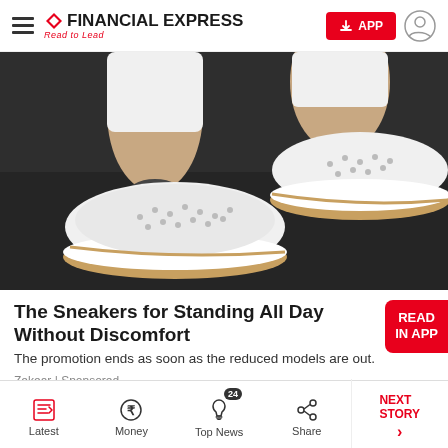FINANCIAL EXPRESS | Read to Lead
[Figure (photo): Close-up photo of feet wearing white perforated sneakers with tan/cork-style soles on a dark rubber floor surface, with white jeans/pants cuffed above ankle.]
The Sneakers for Standing All Day Without Discomfort
The promotion ends as soon as the reduced models are out.
Zekear | Sponsored
Latest | Money | Top News 24 | Share | NEXT STORY